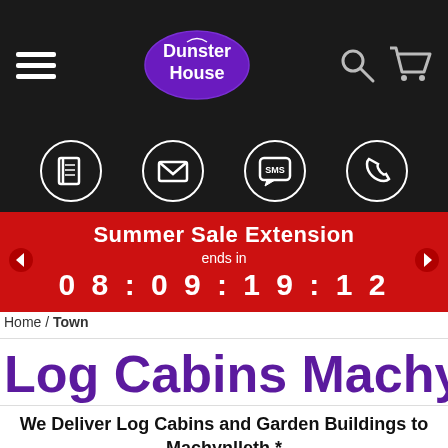[Figure (screenshot): Website navigation bar with hamburger menu, Dunster House logo (purple oval), search icon, and shopping cart icon on dark background]
[Figure (screenshot): Icon row on dark background with four circular icons: book/catalogue, email envelope, SMS speech bubble, and phone]
[Figure (screenshot): Red sale banner reading 'Summer Sale Extension ends in 08:09:19:12' with left and right navigation arrows]
Home / Town
Log Cabins Machynlleth
We Deliver Log Cabins and Garden Buildings to Machynlleth *
Our fleet of drivers and vehicles deliver log cabins and